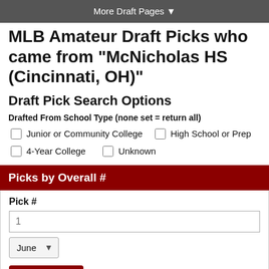More Draft Pages ▼
MLB Amateur Draft Picks who came from "McNicholas HS (Cincinnati, OH)"
Draft Pick Search Options
Drafted From School Type (none set = return all)
Junior or Community College
High School or Prep
4-Year College
Unknown
Picks by Overall #
Pick #
1
June
Get Picks